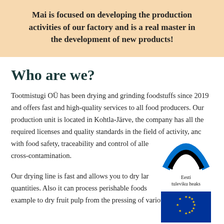Mai is focused on developing the production activities of our factory and is a real master in the development of new products!
Who are we?
Tootmistugi OÜ has been drying and grinding foodstuffs since 2019 and offers fast and high-quality services to all food producers. Our production unit is located in Kohtla-Järve, the company has all the required licenses and quality standards in the field of activity, and with food safety, traceability and control of allergen cross-contamination.
[Figure (logo): Eesti tuleviku heaks logo with Estonian flag colors]
[Figure (logo): Euroopa Liit Euroopa Regionaalarengu Fond logo with EU flag]
Our drying line is fast and allows you to dry large quantities. Also it can process perishable foods for example to dry fruit pulp from the pressing of various